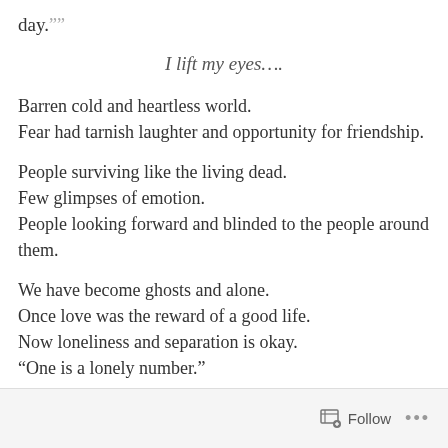day.””
I lift my eyes....
Barren cold and heartless world.
Fear had tarnish laughter and opportunity for friendship.
People surviving like the living dead.
Few glimpses of emotion.
People looking forward and blinded to the people around them.
We have become ghosts and alone.
Once love was the reward of a good life.
Now loneliness and separation is okay.
“One is a lonely number.”
Follow ...